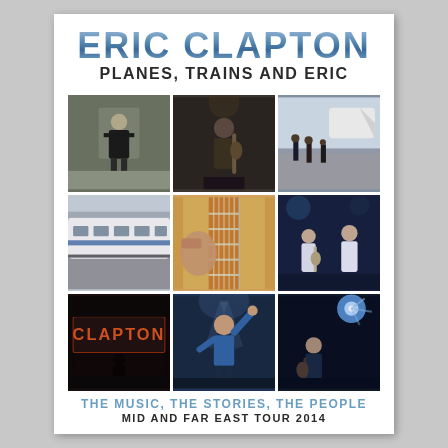ERIC CLAPTON
PLANES, TRAINS AND ERIC
[Figure (photo): 3x3 grid of nine photos: man standing indoors, guitarist seen from behind on stage, people walking near private jet on tarmac, bullet train at platform, close-up of electric guitar fretboard, two musicians on stage, Clapton neon sign silhouette, Eric Clapton raising arm on stage, Eric Clapton playing guitar on stage with spotlight]
THE MUSIC, THE STORIES, THE PEOPLE
MID AND FAR EAST TOUR 2014